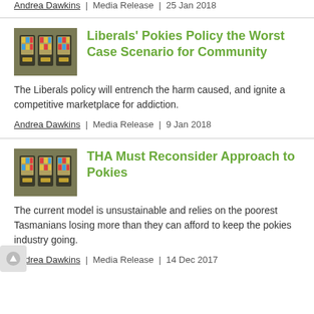Andrea Dawkins | Media Release | 25 Jan 2018
Liberals' Pokies Policy the Worst Case Scenario for Community
The Liberals policy will entrench the harm caused, and ignite a competitive marketplace for addiction.
Andrea Dawkins | Media Release | 9 Jan 2018
THA Must Reconsider Approach to Pokies
The current model is unsustainable and relies on the poorest Tasmanians losing more than they can afford to keep the pokies industry going.
Andrea Dawkins | Media Release | 14 Dec 2017